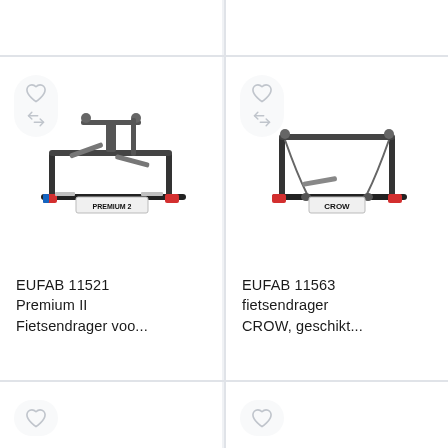[Figure (photo): Top portion of a product card (partially visible at top of page), left side]
[Figure (photo): Top portion of a product card (partially visible at top of page), right side]
[Figure (photo): EUFAB 11521 Premium II bike rack product photo showing a two-bike carrier with license plate reading PREMIUM 2, red brake lights, mounted on tow hitch]
EUFAB 11521 Premium II Fietsendrager voo...
[Figure (photo): EUFAB 11563 CROW fietsendrager product photo showing a single-bike carrier with license plate reading CROW, red brake lights, mounted on tow hitch]
EUFAB 11563 fietsendrager CROW, geschikt...
[Figure (photo): Bottom portion of a product card (partially visible at bottom of page), left side]
[Figure (photo): Bottom portion of a product card (partially visible at bottom of page), right side]